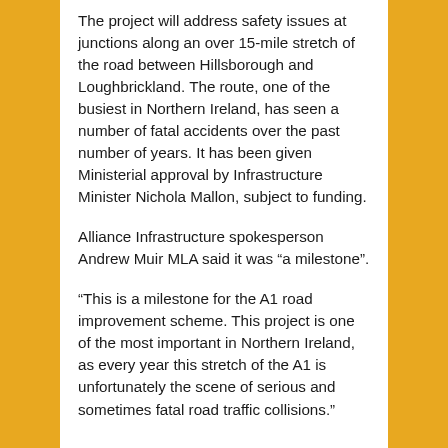The project will address safety issues at junctions along an over 15-mile stretch of the road between Hillsborough and Loughbrickland. The route, one of the busiest in Northern Ireland, has seen a number of fatal accidents over the past number of years. It has been given Ministerial approval by Infrastructure Minister Nichola Mallon, subject to funding.
Alliance Infrastructure spokesperson Andrew Muir MLA said it was “a milestone”.
“This is a milestone for the A1 road improvement scheme. This project is one of the most important in Northern Ireland, as every year this stretch of the A1 is unfortunately the scene of serious and sometimes fatal road traffic collisions.”